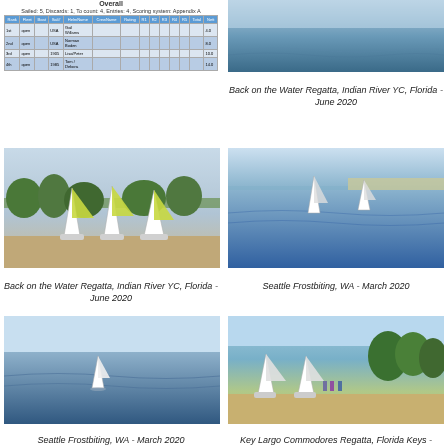[Figure (table-as-image): Regatta results table for Back on the Water Regatta]
RESULTS - Back on the Water Regatta, Indian River YC, Florida - June 2020
[Figure (photo): Water/coastal scene - Back on the Water Regatta, Indian River YC, Florida - June 2020]
Back on the Water Regatta, Indian River YC, Florida - June 2020
[Figure (photo): Sailboats on shore - Back on the Water Regatta, Indian River YC, Florida - June 2020]
Back on the Water Regatta, Indian River YC, Florida - June 2020
[Figure (photo): Sailboats on water - Seattle Frostbiting, WA - March 2020]
Seattle Frostbiting, WA - March 2020
[Figure (photo): Sailboat on open water - Seattle Frostbiting, WA - March 2020]
Seattle Frostbiting, WA - March 2020
[Figure (photo): Sailboats on shore with trees - Key Largo Commodores Regatta, Florida Keys - March]
Key Largo Commodores Regatta, Florida Keys - March